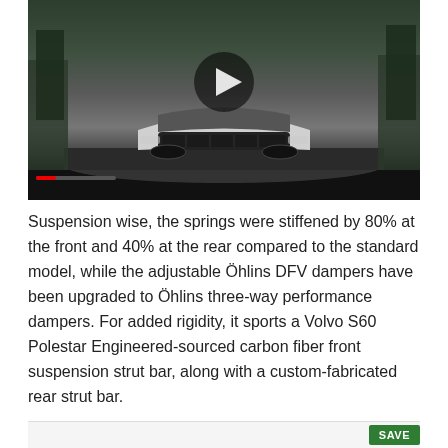[Figure (screenshot): Video thumbnail showing a white futuristic car (Volvo/Polestar concept) driving toward the camera on a road, with trees in the background. A large play button overlay is visible in the center. Below the car image is a dark black progress/control bar.]
Suspension wise, the springs were stiffened by 80% at the front and 40% at the rear compared to the standard model, while the adjustable Öhlins DFV dampers have been upgraded to Öhlins three-way performance dampers. For added rigidity, it sports a Volvo S60 Polestar Engineered-sourced carbon fiber front suspension strut bar, along with a custom-fabricated rear strut bar.